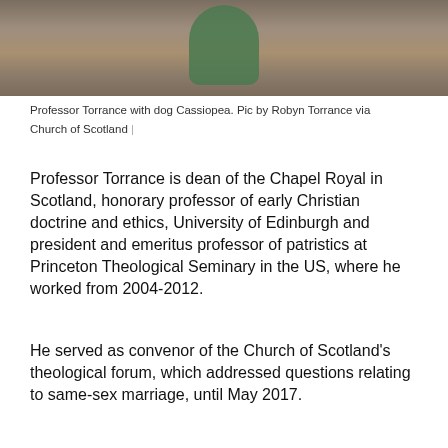[Figure (photo): Professor Torrance with dog Cassiopea, photo cropped showing upper portion only, person in green top with what appears to be a dog]
Professor Torrance with dog Cassiopea. Pic by Robyn Torrance via Church of Scotland  |
Professor Torrance is dean of the Chapel Royal in Scotland, honorary professor of early Christian doctrine and ethics, University of Edinburgh and president and emeritus professor of patristics at Princeton Theological Seminary in the US, where he worked from 2004-2012.
He served as convenor of the Church of Scotland's theological forum, which addressed questions relating to same-sex marriage, until May 2017.